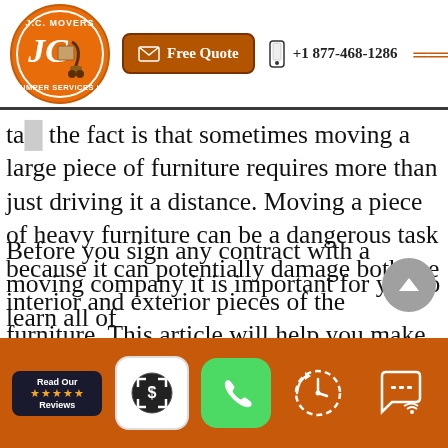[Figure (logo): JC Movers & Lumper Services Inc. circular orange logo with JC initials and a hand truck]
[Figure (screenshot): Website header with Free Quote button, phone number +1 877-468-1286, and hamburger menu icon]
ta... the fact is that sometimes moving a large piece of furniture requires more than just driving it a distance. Moving a piece of heavy furniture can be a dangerous task because it can potentially damage both the interior and exterior pieces of the furniture. This article will help you make sure that the moving company you hire knows the ins and outs when it comes to moving heavy furniture.
Before you sign any contract with a moving company it is important for you to learn all of
[Figure (screenshot): Bottom orange navigation bar with Read Our Reviews badge, cash app icon, phone/call icon, clock/history icon, and chat icon]